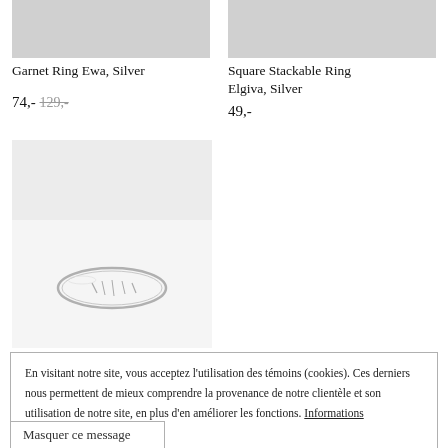[Figure (photo): Top portion of a jewelry product image (light grey placeholder), left column — Garnet Ring Ewa, Silver]
Garnet Ring Ewa, Silver
74,- 129,-
[Figure (photo): Top portion of a jewelry product image (light grey placeholder), right column — Square Stackable Ring Elgiva, Silver]
Square Stackable Ring Elgiva, Silver
49,-
[Figure (photo): Close-up photo of a thin silver stackable ring on a light background]
En visitant notre site, vous acceptez l’utilisation des témoins (cookies). Ces derniers nous permettent de mieux comprendre la provenance de notre clientèle et son utilisation de notre site, en plus d’en améliorer les fonctions. Informations additionnelles
Masquer ce message